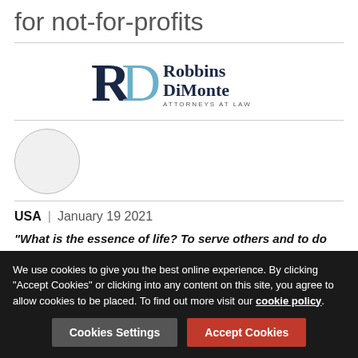for not-for-profits
[Figure (logo): Robbins DiMonte Attorneys at Law logo]
[Figure (photo): Circular avatar/profile photo placeholder]
USA | January 19 2021
“What is the essence of life? To serve others and to do good.”
We use cookies to give you the best online experience. By clicking “Accept Cookies” or clicking into any content on this site, you agree to allow cookies to be placed. To find out more visit our cookie policy.